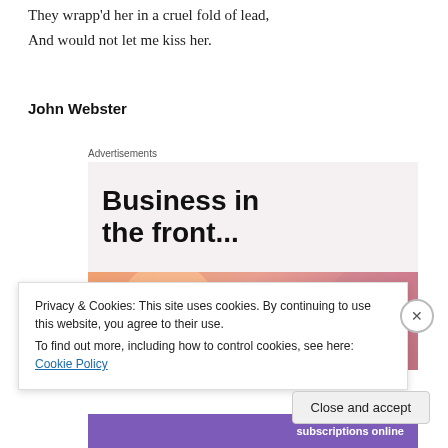They wrapp'd her in a cruel fold of lead,
And would not let me kiss her.
John Webster
Advertisements
[Figure (screenshot): Advertisement banner: top half shows 'Business in the front...' text on light pink/grey background; bottom half shows 'WordPress' text on orange-pink gradient background with decorative circles.]
Privacy & Cookies: This site uses cookies. By continuing to use this website, you agree to their use.
To find out more, including how to control cookies, see here: Cookie Policy